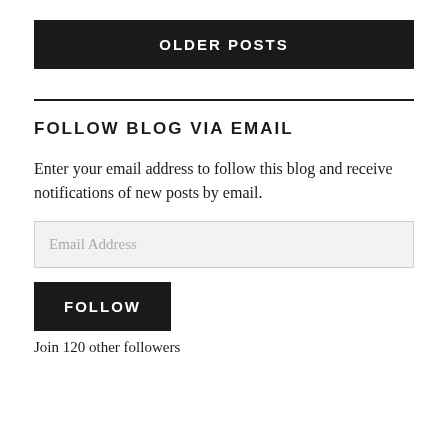OLDER POSTS
FOLLOW BLOG VIA EMAIL
Enter your email address to follow this blog and receive notifications of new posts by email.
Email Address
FOLLOW
Join 120 other followers